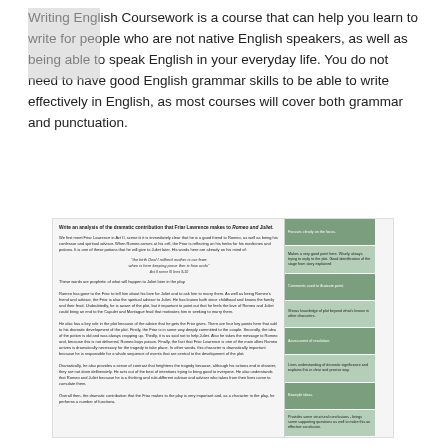Writing English Coursework is a course that can help you learn to write for people who are not native English speakers, as well as being able to speak English in your everyday life. You do not need to have good English grammar skills to be able to write effectively in English, as most courses will cover both grammar and punctuation.
[Figure (other): A scanned essay page about Friar Lawrence in Romeo and Juliet, with a sidebar of green annotation boxes. The essay asks to write an analysis of the dramatic contribution that Friar Lawrence makes to Romeo and Juliet.]